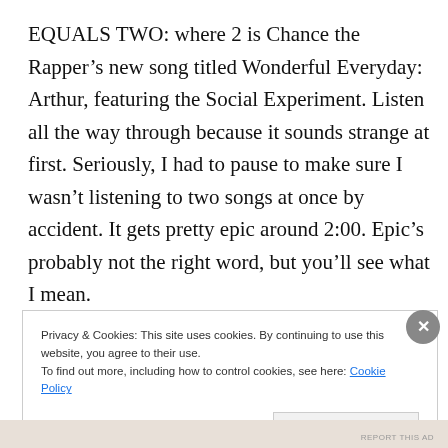EQUALS TWO: where 2 is Chance the Rapper’s new song titled Wonderful Everyday: Arthur, featuring the Social Experiment. Listen all the way through because it sounds strange at first. Seriously, I had to pause to make sure I wasn’t listening to two songs at once by accident. It gets pretty epic around 2:00. Epic’s probably not the right word, but you’ll see what I mean.
Privacy & Cookies: This site uses cookies. By continuing to use this website, you agree to their use.
To find out more, including how to control cookies, see here: Cookie Policy